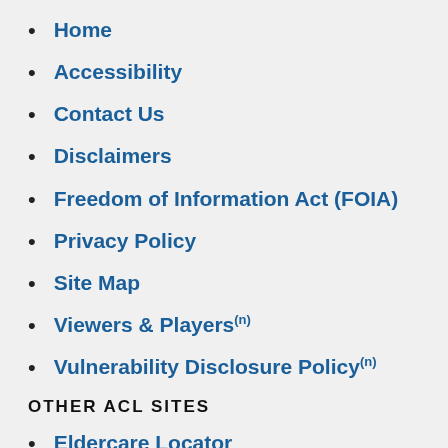Home
Accessibility
Contact Us
Disclaimers
Freedom of Information Act (FOIA)
Privacy Policy
Site Map
Viewers & Players(n)
Vulnerability Disclosure Policy(n)
OTHER ACL SITES
Eldercare Locator